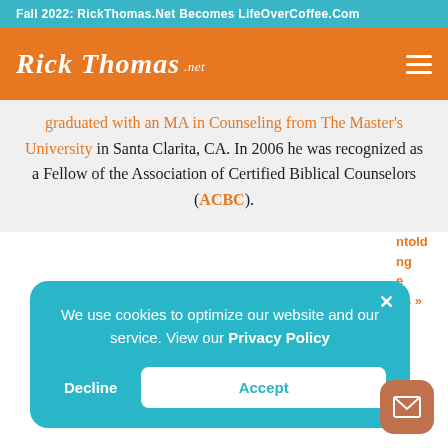Fall 2022: RickThomas.Net Becomes LifeOverCoffee.Com
[Figure (logo): Rick Thomas .net logo in white italic script on orange background with hamburger menu icon]
graduated with an MA in Counseling from The Master's University in Santa Clarita, CA. In 2006 he was recognized as a Fellow of the Association of Certified Biblical Counselors (ACBC).
We use cookies to optimize our website and our service. View our Privacy Policy
Decline
Accept